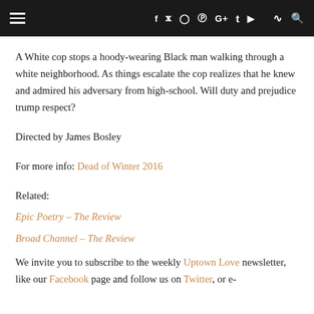≡  f  twitter  instagram  pinterest  G+  t  youtube  rss  search
A White cop stops a hoody-wearing Black man walking through a white neighborhood. As things escalate the cop realizes that he knew and admired his adversary from high-school. Will duty and prejudice trump respect?
Directed by James Bosley
For more info: Dead of Winter 2016
Related:
Epic Poetry – The Review
Broad Channel – The Review
We invite you to subscribe to the weekly Uptown Love newsletter, like our Facebook page and follow us on Twitter, or e-